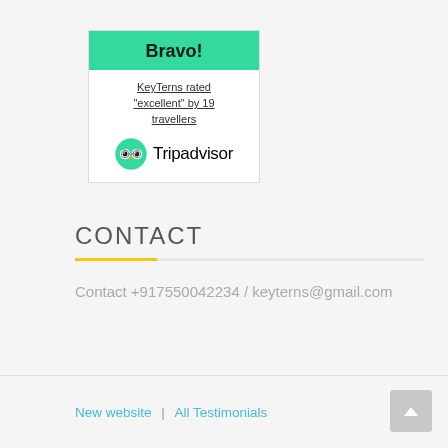[Figure (other): Tripadvisor widget with green header saying 'Bravo!' and body text 'KeyTerns rated "excellent" by 19 travellers' with the Tripadvisor owl logo and wordmark]
CONTACT
Contact +917550042234 / keyterns@gmail.com
New website | All Testimonials